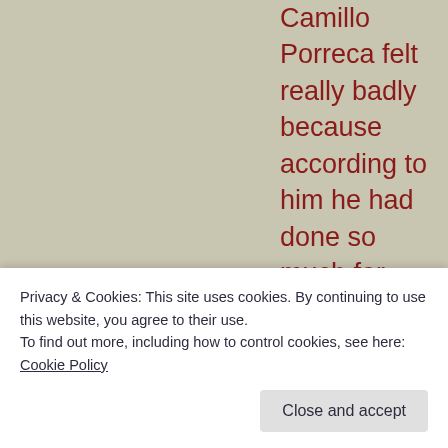Camillo Porreca felt really badly because according to him he had done so much for Torricella and the Torricellans that he did not deserve this ingratitude. Therefore, he
Privacy & Cookies: This site uses cookies. By continuing to use this website, you agree to their use.
To find out more, including how to control cookies, see here: Cookie Policy
Close and accept